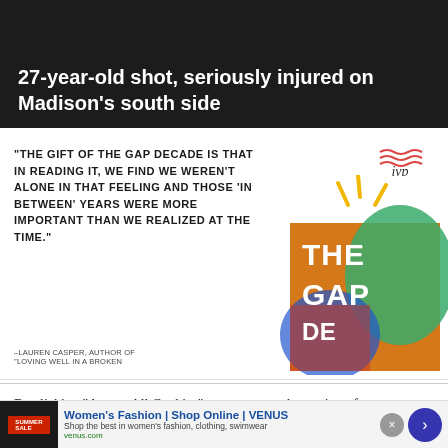27-year-old shot, seriously injured on Madison's south side
[Figure (photo): Dark news article banner image with white headline text]
[Figure (illustration): Advertisement for 'The Gap Decade' book by IVP publisher, showing a quote from Lauren Casper, author of 'Loving Well in a Broken', alongside colorful book cover art with yellow burst graphic]
By clicking “Accept All Cookies”, you agree to the storing of cookies on your device to enhance site navigation, analyze site usage, and assist in our marketing efforts.
[Figure (screenshot): Bottom banner advertisement for Women's Fashion | Shop Online | VENUS, showing a thumbnail of a summer sale promotion, with shop link venus.com and a blue arrow button]